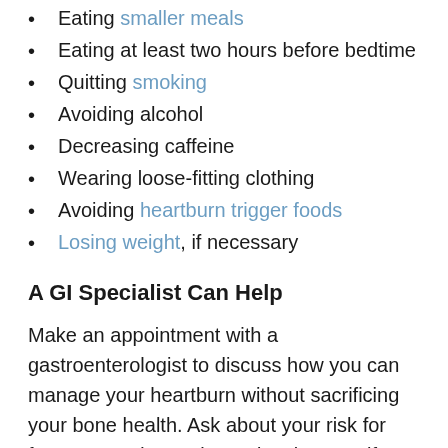Eating smaller meals
Eating at least two hours before bedtime
Quitting smoking
Avoiding alcohol
Decreasing caffeine
Wearing loose-fitting clothing
Avoiding heartburn trigger foods
Losing weight, if necessary
A GI Specialist Can Help
Make an appointment with a gastroenterologist to discuss how you can manage your heartburn without sacrificing your bone health. Ask about your risk for fractures and get a bone density scan if your doctor suggests it. Don't forget to get enough calcium, vitamin D and exercise, and you'll be